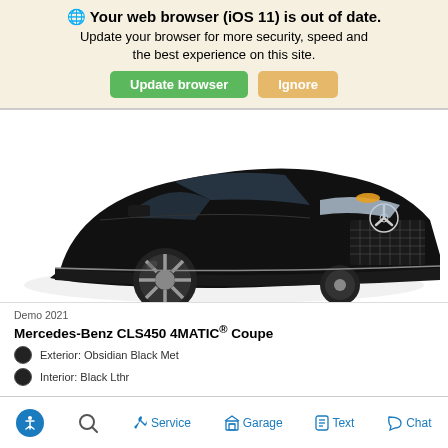🌐 Your web browser (iOS 11) is out of date. Update your browser for more security, speed and the best experience on this site.
Update browser | Ignore
[Figure (photo): Front three-quarter view of a black Mercedes-Benz CLS450 4MATIC Coupe on a white background]
Demo 2021
Mercedes-Benz CLS450 4MATIC® Coupe
Exterior: Obsidian Black Met
Interior: Black Lthr
Accessibility  Search  Service  Garage  Text  Chat